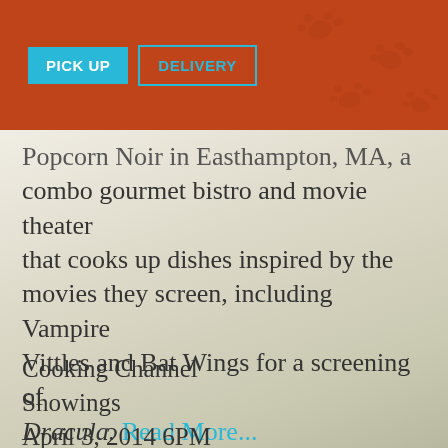[Figure (screenshot): Orange header bar with PICK UP (cyan filled button) and DELIVERY (cyan outlined button) navigation buttons, with faint paw print decorations]
Popcorn Noir in Easthampton, MA, a combo gourmet bistro and movie theater that cooks up dishes inspired by the movies they screen, including Vampire Vittles and Bat Wings for a screening of Dracula. Read More...
Cooking Channel Showings
April 3, 2014 6PM
(9PM Eastern)
April 6, 2014 4:30PM
(7:30PM Eastern)